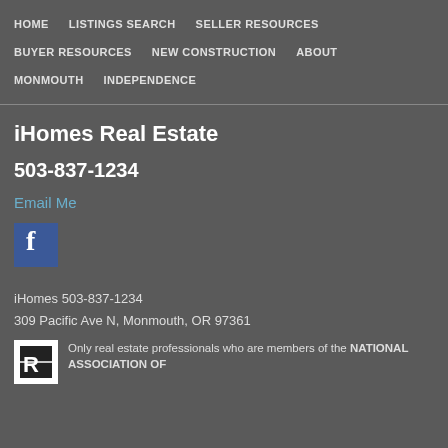HOME   LISTINGS SEARCH   SELLER RESOURCES   BUYER RESOURCES   NEW CONSTRUCTION   ABOUT   MONMOUTH   INDEPENDENCE
iHomes Real Estate
503-837-1234
Email Me
[Figure (logo): Facebook logo icon — blue square with white 'f']
iHomes 503-837-1234
309 Pacific Ave N, Monmouth, OR 97361
[Figure (logo): REALTOR logo — black and white square with stylized R/D mark]
Only real estate professionals who are members of the NATIONAL ASSOCIATION OF